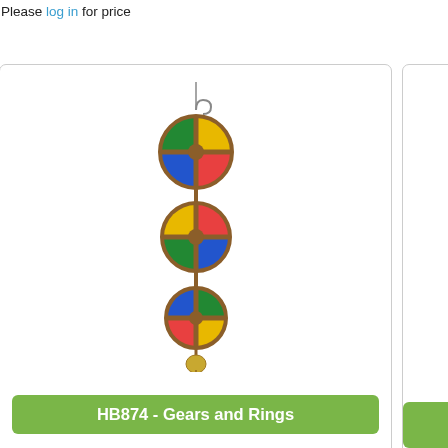Please log in for price
[Figure (photo): Bird toy product image: HB874 - Gears and Rings, a hanging toy with colorful circular ring-shaped components connected vertically with a bell at the bottom]
HB874 - Gears and Rings
Please log in for price
Please
Resu